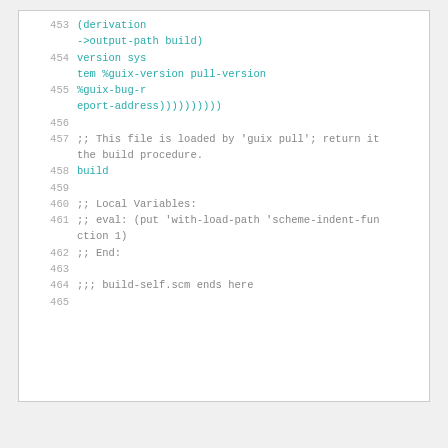453  (derivation
     ->output-path build)
454  version sys
     tem %guix-version pull-version
455  %guix-bug-r
     eport-address))))))))))
456  
457  ;; This file is loaded by 'guix pull'; return it
     the build procedure.
458  build
459  
460  ;; Local Variables:
461  ;; eval: (put 'with-load-path 'scheme-indent-fun
     ction 1)
462  ;; End:
463  
464  ;;; build-self.scm ends here
465